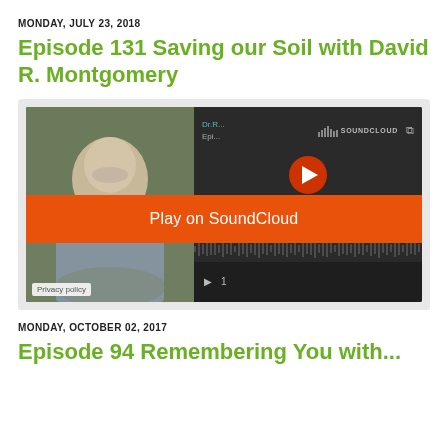MONDAY, JULY 23, 2018
Episode 131 Saving our Soil with David R. Montgomery
[Figure (screenshot): SoundCloud embedded audio player showing episode 131. Features an orange 'Play on SoundCloud' button overlay, a 'Listen in browser' bar, waveform visualization, timestamp 55:36, and a thumbnail photo of a man with grey hair and beard.]
MONDAY, OCTOBER 02, 2017
Episode 94 Remembering You with...